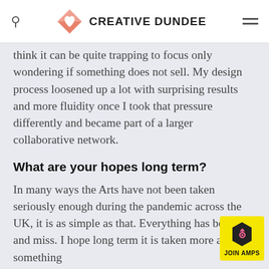CREATIVE DUNDEE
think it can be quite trapping to focus only wondering if something does not sell. My design process loosened up a lot with surprising results and more fluidity once I took that pressure differently and became part of a larger collaborative network.
What are your hopes long term?
In many ways the Arts have not been taken seriously enough during the pandemic across the UK, it is as simple as that. Everything has been hit and miss. I hope long term it is taken more as something
[Figure (logo): JOIN AMPS badge with hexagon icon, yellow background]